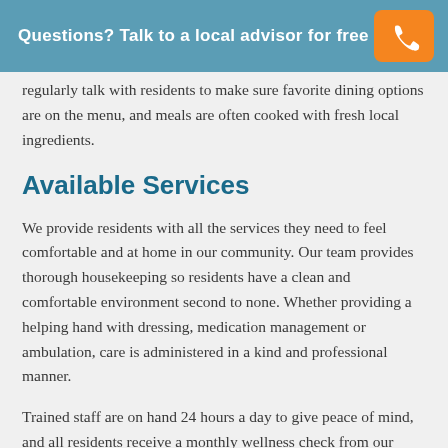Questions? Talk to a local advisor for free
regularly talk with residents to make sure favorite dining options are on the menu, and meals are often cooked with fresh local ingredients.
Available Services
We provide residents with all the services they need to feel comfortable and at home in our community. Our team provides thorough housekeeping so residents have a clean and comfortable environment second to none. Whether providing a helping hand with dressing, medication management or ambulation, care is administered in a kind and professional manner.
Trained staff are on hand 24 hours a day to give peace of mind, and all residents receive a monthly wellness check from our licensed nurse. Residents of our community that